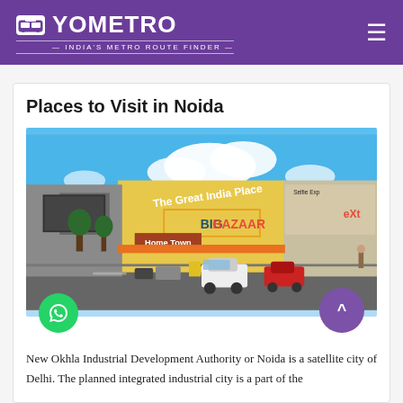YOMETRO — India's Metro Route Finder
Places to Visit in Noida
[Figure (photo): Street-level photo of The Great India Place mall in Noida, showing large yellow building facade with signage including 'The Great India Place', 'Big Bazaar', 'Home Town', cars and motorcycles in foreground, blue sky with clouds.]
New Okhla Industrial Development Authority or Noida is a satellite city of Delhi. The planned integrated industrial city is a part of the